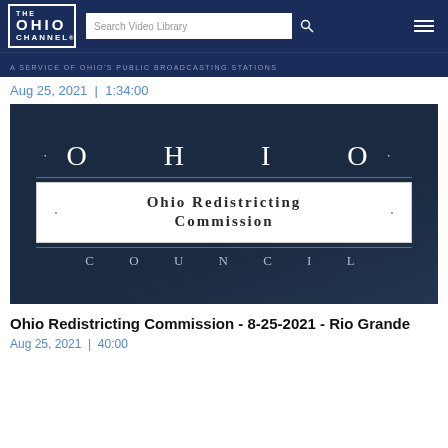THE OHIO CHANNEL — A SERVICE OF OHIO'S PUBLIC BROADCASTING STATIONS
Aug 25, 2021 | 1:34:00
[Figure (screenshot): Ohio Redistricting Commission logo — dark blue background with 'OHIO' in large serif letters at top, white box containing 'OHIO REDISTRICTING COMMISSION' in bold serif, and 'COUNCIL' in spaced letters at bottom]
Ohio Redistricting Commission - 8-25-2021 - Rio Grande
Aug 25, 2021 | 40:00